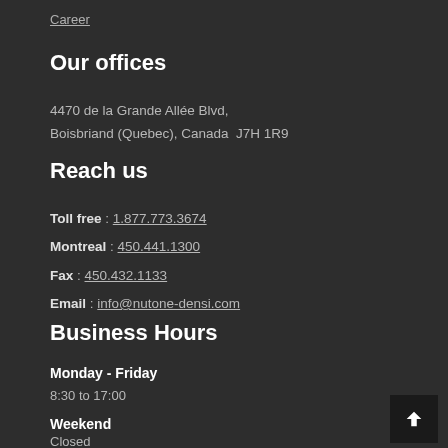Career
Our offices
4470 de la Grande Allée Blvd,
Boisbriand (Quebec), Canada  J7H 1R9
Reach us
Toll free : 1.877.773.3674
Montreal : 450.441.1300
Fax : 450.432.1133
Email : info@nutone-densi.com
Business Hours
Monday - Friday
8:30 to 17:00
Weekend
Closed